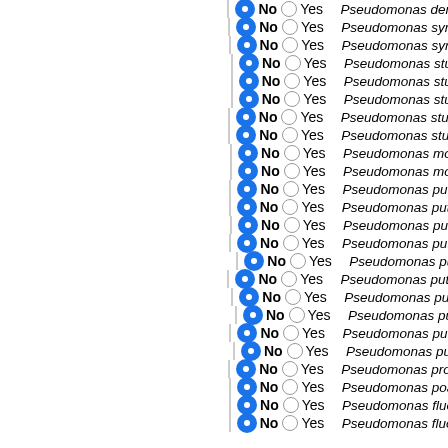No Yes Pseudomonas denitrificans P...
No Yes Pseudomonas syringae pv. p...
No Yes Pseudomonas syringae pv. s...
No Yes Pseudomonas stutzeri CCUG...
No Yes Pseudomonas stutzeri DSM...
No Yes Pseudomonas stutzeri DSM...
No Yes Pseudomonas stutzeri RCH2...
No Yes Pseudomonas stutzeri ATCC...
No Yes Pseudomonas monteilii SB3...
No Yes Pseudomonas monteilii SB3...
No Yes Pseudomonas putida H8234
No Yes Pseudomonas putida HB326...
No Yes Pseudomonas putida NBRC...
No Yes Pseudomonas putida DOT-T...
No Yes Pseudomonas putida S16
No Yes Pseudomonas putida BIRD-1...
No Yes Pseudomonas putida W619
No Yes Pseudomonas putida ND6
No Yes Pseudomonas putida KT244...
No Yes Pseudomonas putida GB-1
No Yes Pseudomonas protegens CH...
No Yes Pseudomonas poae RE*1-1-...
No Yes Pseudomonas fluorescens F...
No Yes Pseudomonas fluorescens A...